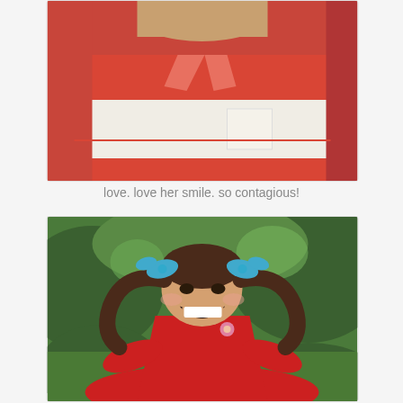[Figure (photo): Close-up photo of a child wearing a red and white polo shirt, arms crossed]
love. love her smile. so contagious!
[Figure (photo): Young girl with pigtails and blue bows, wearing a red dress, laughing joyfully outdoors with green background]
[Figure (photo): Partial photo at bottom of page, showing a blurred outdoor scene, partially cut off]